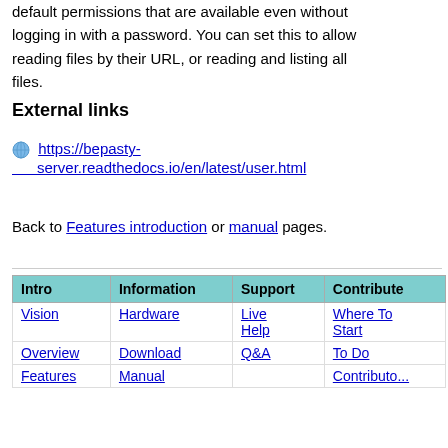You can also configure Public Access, which sets the default permissions that are available even without logging in with a password. You can set this to allow reading files by their URL, or reading and listing all files.
External links
https://bepasty-server.readthedocs.io/en/latest/user.html
Back to Features introduction or manual pages.
| Intro | Information | Support | Contribute |
| --- | --- | --- | --- |
| Vision | Hardware | Live Help | Where To Start |
| Overview | Download | Q&A | To Do |
| Features | Manual |  | Contributo... |